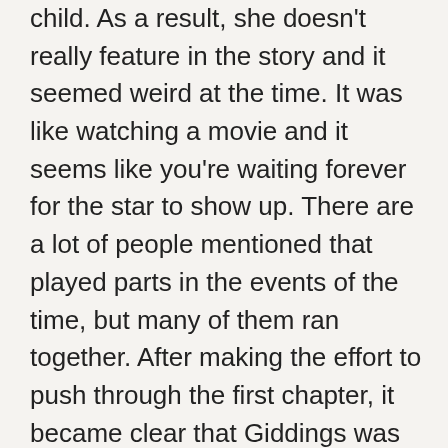child. As a result, she doesn't really feature in the story and it seemed weird at the time. It was like watching a movie and it seems like you're waiting forever for the star to show up. There are a lot of people mentioned that played parts in the events of the time, but many of them ran together. After making the effort to push through the first chapter, it became clear that Giddings was trying to provide insight into the tumultuous environment that Wells was born into. It explains how being witness to or hearing about events as a young child affected the development of her character. The information contained in this and some of the other early chapters is incredibly important but the level of detail slows Ida: A Sword Among Lions down.
Following the sudden and unexpected death of her parents as a teen, Wells took on the